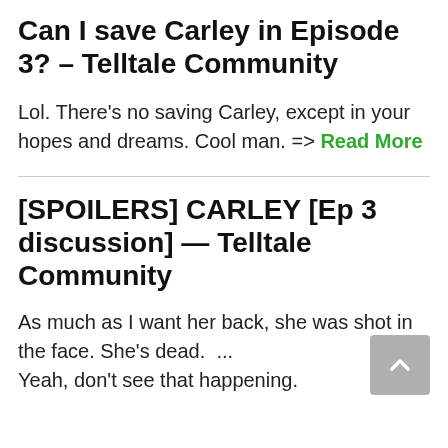Can I save Carley in Episode 3? – Telltale Community
Lol. There's no saving Carley, except in your hopes and dreams. Cool man. => Read More
[SPOILERS] CARLEY [Ep 3 discussion] — Telltale Community
As much as I want her back, she was shot in the face. She's dead. ... Yeah, don't see that happening.